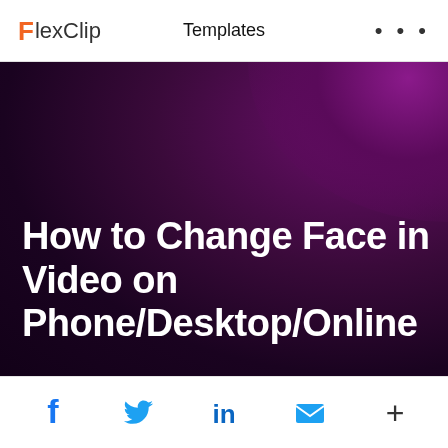FlexClip  Templates  ...
[Figure (screenshot): Dark purple/maroon gradient background image with bold white text overlay showing article title about changing face in video]
How to Change Face in Video on Phone/Desktop/Online
Social share icons: Facebook, Twitter, LinkedIn, Email, More (+)